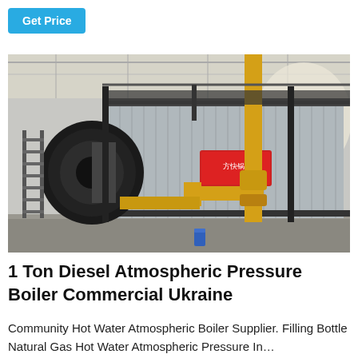Get Price
[Figure (photo): Industrial boiler unit with large cylindrical body, yellow gas pipes, corrugated metal panels, and framework/scaffolding inside a factory or industrial hall. A Chinese manufacturer logo sign is visible on the boiler body.]
1 Ton Diesel Atmospheric Pressure Boiler Commercial Ukraine
Community Hot Water Atmospheric Boiler Supplier. Filling Bottle Natural Gas Hot Water Atmospheric Pressure In…